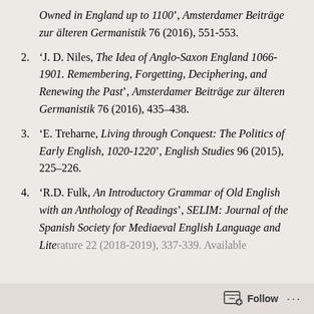Owned in England up to 1100’, Amsterdamer Beiträge zur älteren Germanistik 76 (2016), 551-553.
2. ‘J. D. Niles, The Idea of Anglo-Saxon England 1066-1901. Remembering, Forgetting, Deciphering, and Renewing the Past’, Amsterdamer Beiträge zur älteren Germanistik 76 (2016), 435–438.
3. ‘E. Treharne, Living through Conquest: The Politics of Early English, 1020-1220’, English Studies 96 (2015), 225–226.
4. ‘R.D. Fulk, An Introductory Grammar of Old English with an Anthology of Readings’, SELIM: Journal of the Spanish Society for Mediaeval English Language and Literature 22 (2018-2019), 337-339. Available...
Follow